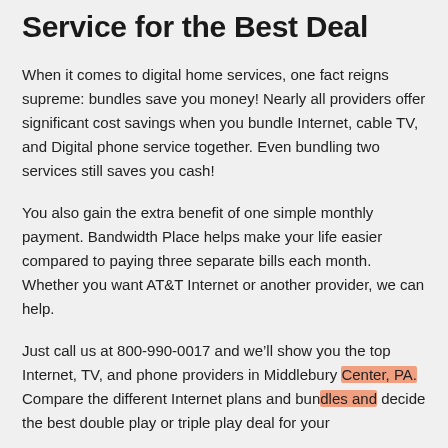Service for the Best Deal
When it comes to digital home services, one fact reigns supreme: bundles save you money! Nearly all providers offer significant cost savings when you bundle Internet, cable TV, and Digital phone service together. Even bundling two services still saves you cash!
You also gain the extra benefit of one simple monthly payment. Bandwidth Place helps make your life easier compared to paying three separate bills each month. Whether you want AT&T Internet or another provider, we can help.
Just call us at 800-990-0017 and we’ll show you the top Internet, TV, and phone providers in Middlebury Center, PA. Compare the different Internet plans and bundles and decide the best double play or triple play deal for your